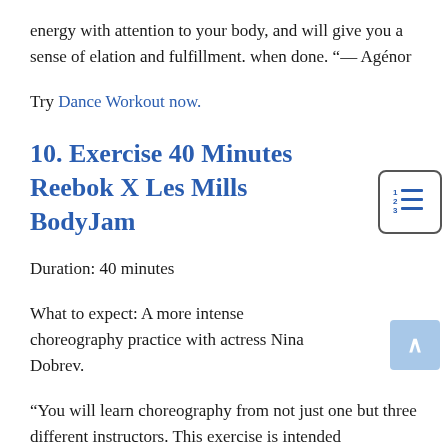energy with attention to your body, and will give you a sense of elation and fulfillment. when done. “— Agénor
Try Dance Workout now.
10. Exercise 40 Minutes Reebok X Les Mills BodyJam
Duration: 40 minutes
What to expect: A more intense choreography practice with actress Nina Dobrev.
“You will learn choreography from not just one but three different instructors. This exercise is intended